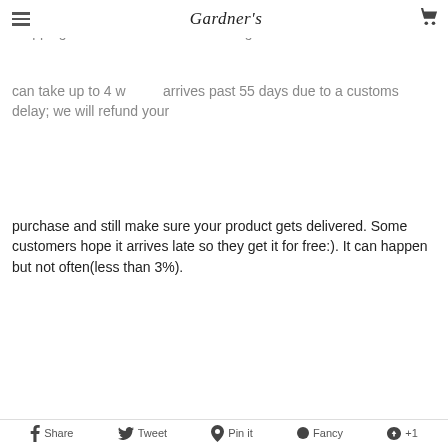Gardner's
We ship from international warehouses to best serve our customers. Shipping takes 2 to 3 weeks on average and can take up to 4 weeks. If it arrives past 55 days due to a customs delay; we will refund your purchase and still make sure your product gets delivered. Some customers hope it arrives late so they get it for free:). It can happen but not often(less than 3%).
Even though we have an extreme vetting process to pick our products. We can't please everybody. If you are not happy for any reason please kindly let us know and we will give you a full refund. We remove products that receive too many negative reviews.
Our motto is to make every customer happy with their purchase. You can read our very happy customers speak kindly of us on our Facebook Page. Also, please use code NEW10 for 10% off your first purchase if you are a first time customer. Happy shopping and let us know if we can be of any extra help:)
Share  Tweet  Pin it  Fancy  +1